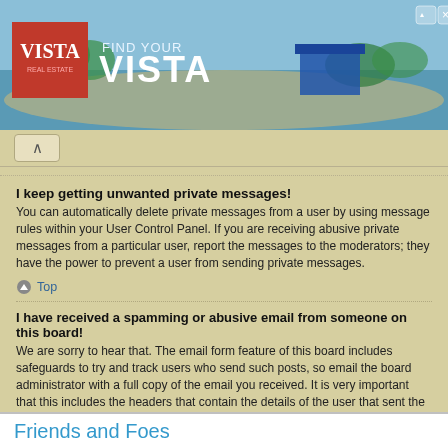[Figure (illustration): Vista Real Estate advertisement banner showing tropical beach scene with logo and 'FIND YOUR VISTA' text]
I keep getting unwanted private messages!
You can automatically delete private messages from a user by using message rules within your User Control Panel. If you are receiving abusive private messages from a particular user, report the messages to the moderators; they have the power to prevent a user from sending private messages.
Top
I have received a spamming or abusive email from someone on this board!
We are sorry to hear that. The email form feature of this board includes safeguards to try and track users who send such posts, so email the board administrator with a full copy of the email you received. It is very important that this includes the headers that contain the details of the user that sent the email. The board administrator can then take action.
Top
Friends and Foes